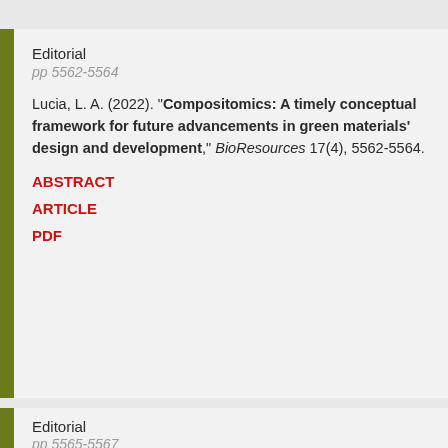Editorial
pp 5562-5564
Lucia, L. A. (2022). "Compositomics: A timely conceptual framework for future advancements in green materials' design and development," BioResources 17(4), 5562-5564.
ABSTRACT
ARTICLE
PDF
Editorial
pp 5565-5567
Jablonsky, M., and Šima, J. (2022). "Let's